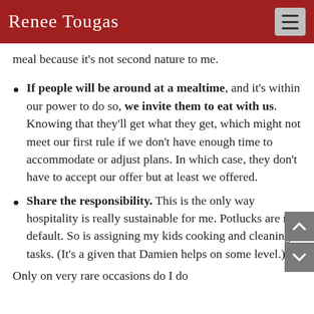Renee Tougas
meal because it's not second nature to me.
If people will be around at a mealtime, and it's within our power to do so, we invite them to eat with us. Knowing that they'll get what they get, which might not meet our first rule if we don't have enough time to accommodate or adjust plans. In which case, they don't have to accept our offer but at least we offered.
Share the responsibility. This is the only way hospitality is really sustainable for me. Potlucks are my default. So is assigning my kids cooking and cleaning tasks. (It's a given that Damien helps on some level.) Only on very rare occasions do I do